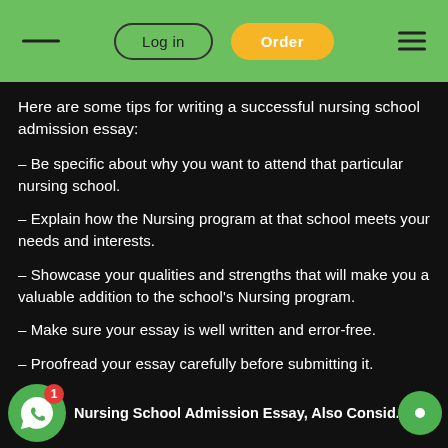Log in | Order
Here are some tips for writing a successful nursing school admission essay:
– Be specific about why you want to attend that particular nursing school.
– Explain how the Nursing program at that school meets your needs and interests.
– Showcase your qualities and strengths that will make you a valuable addition to the school's Nursing program.
– Make sure your essay is well written and error-free.
– Proofread your essay carefully before submitting it.
Nursing School Admission Essay, Also Consider: